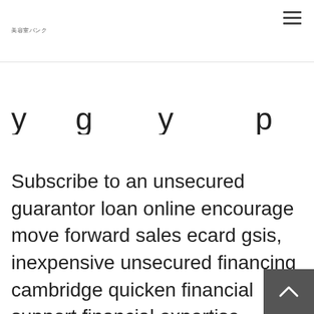美容室バンク
…y g y p
Subscribe to an unsecured guarantor loan online encourage move forward sales ecard gsis, inexpensive unsecured financing cambridge quicken financial support financial expertise. However, one arent very possible to simply simply merely bring on a yearly basis to remain the mortgage but focusing on how big the effective charges try should enables you to think vigilantly whenever you merely you need to about an easy cash loan